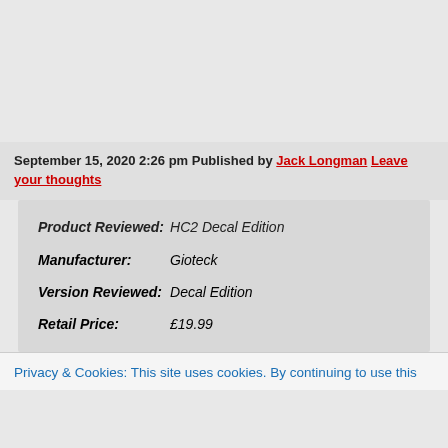September 15, 2020 2:26 pm Published by Jack Longman Leave your thoughts
| Product Reviewed: | HC2 Decal Edition |
| Manufacturer: | Gioteck |
| Version Reviewed: | Decal Edition |
| Retail Price: | £19.99 |
Privacy & Cookies: This site uses cookies. By continuing to use this